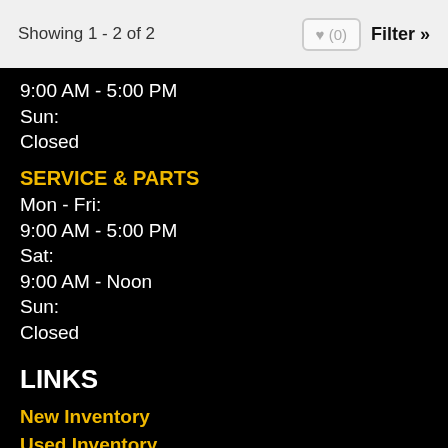Showing 1 - 2 of 2  ♥ (0)  Filter »
9:00 AM - 5:00 PM
Sun:
Closed
SERVICE & PARTS
Mon - Fri:
9:00 AM - 5:00 PM
Sat:
9:00 AM - Noon
Sun:
Closed
LINKS
New Inventory
Used Inventory
Clearance